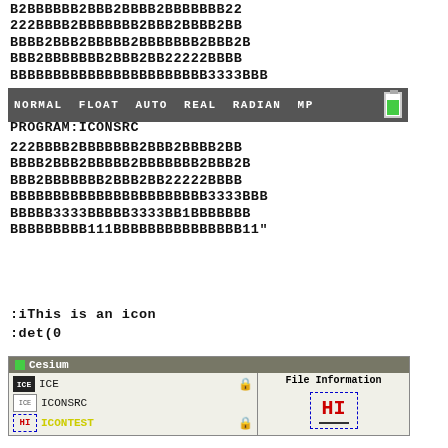B2BBBBBB2BBB2BBBB2BBBBBBB22
222BBBB2BBBBBBB2BBB2BBBB2BB
BBBB2BBB2BBBBB2BBBBBBB2BBB2B
BBB2BBBBBBB2BBB2BB22222BBBB
BBBBBBBBBBBBBBBBBBBBBBB3333BBB
NORMAL FLOAT AUTO REAL RADIAN MP
PROGRAM:ICONSRC
222BBBB2BBBBBBB2BBB2BBBB2BB
BBBB2BBB2BBBBB2BBBBBBB2BBB2B
BBB2BBBBBBB2BBB2BB22222BBBB
BBBBBBBBBBBBBBBBBBBBBBB3333BBB
BBBBB3333BBBBB3333BB1BBBBBBB
BBBBBBBBB111BBBBBBBBBBBBBBB11"
:iThis is an icon
:det(0
[Figure (screenshot): Cesium file manager panel showing files ICE, ICONSRC, and ICONTEST with a File Information panel showing HI icon preview]